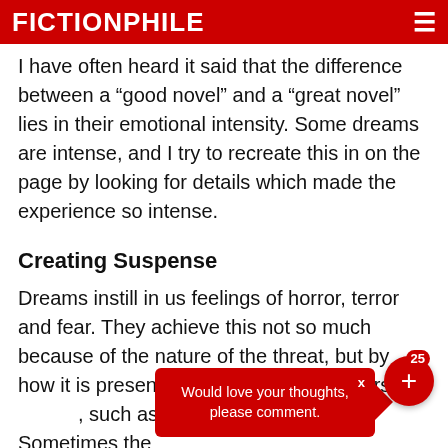FICTIONPHILE
I have often heard it said that the difference between a “good novel” and a “great novel” lies in their emotional intensity. Some dreams are intense, and I try to recreate this in on the page by looking for details which made the experience so intense.
Creating Suspense
Dreams instill in us feelings of horror, terror and fear. They achieve this not so much because of the nature of the threat, but by how it is presented. Dream “monsters” are sometimes everyday objects, such as a glove, or a lamp. Sometimes the
Would love your thoughts, please comment.